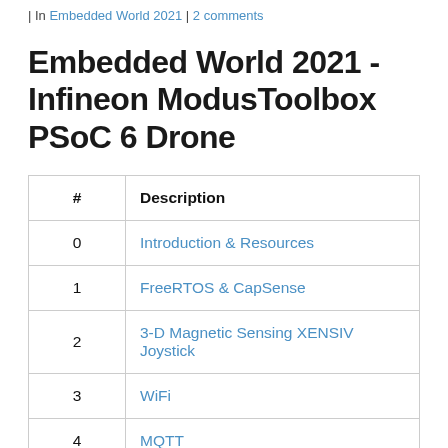| In Embedded World 2021 | 2 comments
Embedded World 2021 - Infineon ModusToolbox PSoC 6 Drone
| # | Description |
| --- | --- |
| 0 | Introduction & Resources |
| 1 | FreeRTOS & CapSense |
| 2 | 3-D Magnetic Sensing XENSIV Joystick |
| 3 | WiFi |
| 4 | MQTT |